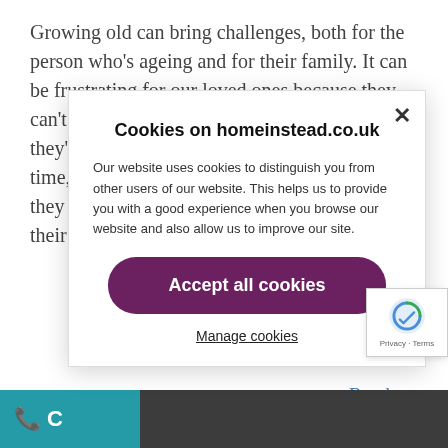Growing old can bring challenges, both for the person who's ageing and for their family. It can be frustrating for our loved ones because they can't do everything they used to and feel like they're losing their independence. At the same time, it might be worrying for their family as they might not be able to be there whenever their loved ones need them.
Read more
Cookies on homeinstead.co.uk
Our website uses cookies to distinguish you from other users of our website. This helps us to provide you with a good experience when you browse our website and also allow us to improve our site.
Accept all cookies
Manage cookies